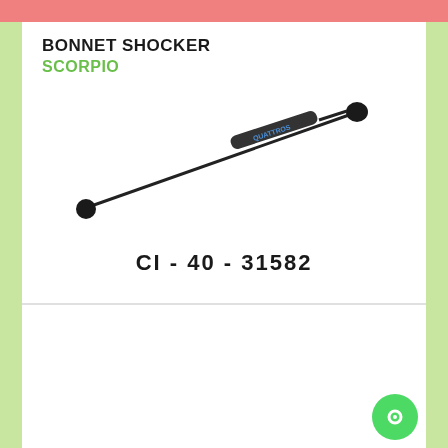BONNET SHOCKER
SCORPIO
[Figure (photo): A bonnet shocker/gas strut component for Mahindra Scorpio, shown diagonally with a thin black rod and cylindrical body with a label, and ball-joint connectors at each end.]
CI - 40 - 31582
BONNET SHOCKER MAHINDRA SCORPIO
PART NO: 31582